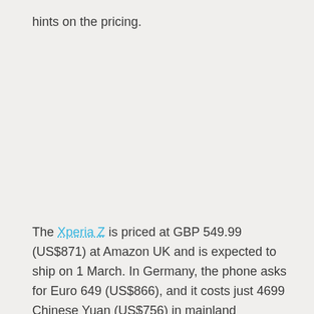hints on the pricing.
The Xperia Z is priced at GBP 549.99 (US$871) at Amazon UK and is expected to ship on 1 March. In Germany, the phone asks for Euro 649 (US$866), and it costs just 4699 Chinese Yuan (US$756) in mainland